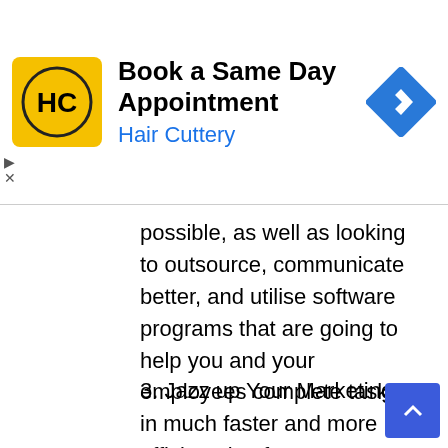[Figure (screenshot): Hair Cuttery advertisement banner: yellow logo with HC initials, 'Book a Same Day Appointment' title, 'Hair Cuttery' subtitle in blue, blue diamond navigation icon on right]
possible, as well as looking to outsource, communicate better, and utilise software programs that are going to help you and your employees complete tasks in much faster and more efficient timeframes.
3. Jazz up Your Marketing
One of the key ways of being able to achieve small business stability is to make sure you